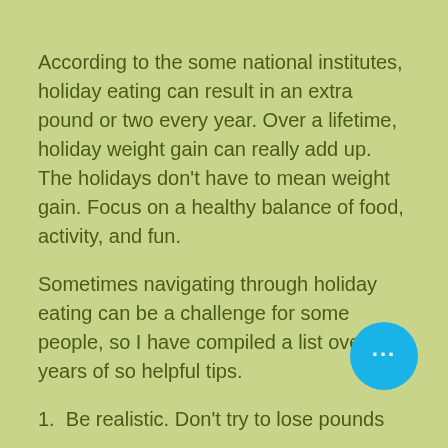According to the some national institutes, holiday eating can result in an extra pound or two every year. Over a lifetime, holiday weight gain can really add up. The holidays don't have to mean weight gain. Focus on a healthy balance of food, activity, and fun.
Sometimes navigating through holiday eating can be a challenge for some people, so I have compiled a list over the years of so helpful tips.
1.  Be realistic. Don't try to lose pounds